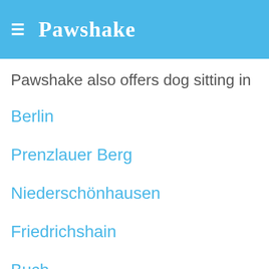Pawshake
Pawshake also offers dog sitting in
Berlin
Prenzlauer Berg
Niederschönhausen
Friedrichshain
Buch
Wedding
Kreuzberg
Mitte